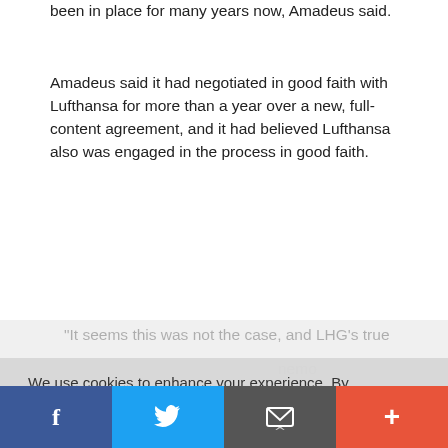been in place for many years now, Amadeus said.
Amadeus said it had negotiated in good faith with Lufthansa for more than a year over a new, full-content agreement, and it had believed Lufthansa also was engaged in the process in good faith.
“It seems this was not the case, and LHG’s true
We use cookies to enhance your experience. By continuing to visit this site you agree to our privacy policy and use of cookies.
Learn more
Putting agencies at ‘a disadvantage’
Without a full-content agreement, Lufthansa Group’s fares may differ between direct and